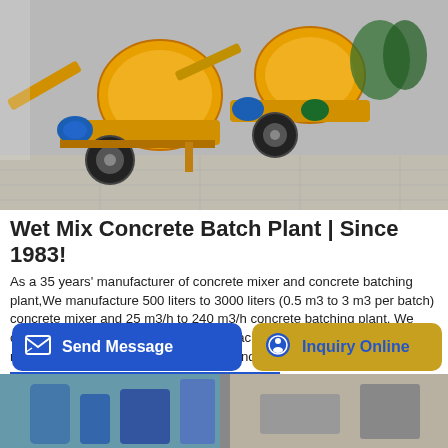[Figure (photo): Yellow concrete mixer machines / wet mix concrete batch plant equipment lined up in a yard]
Wet Mix Concrete Batch Plant | Since 1983!
As a 35 years' manufacturer of concrete mixer and concrete batching plant,We manufacture 500 liters to 3000 liters (0.5 m3 to 3 m3 per batch) concrete mixer and 25 m3/h to 240 m3/h concrete batching plant. We can supply you high quality concrete machines at factory price! Any needs or questions on concrete mixer and concrete batching plant
GET A QUOTE
Send Message
Inquiry Online
[Figure (photo): Partial photo of concrete batching plant equipment visible at bottom of page]